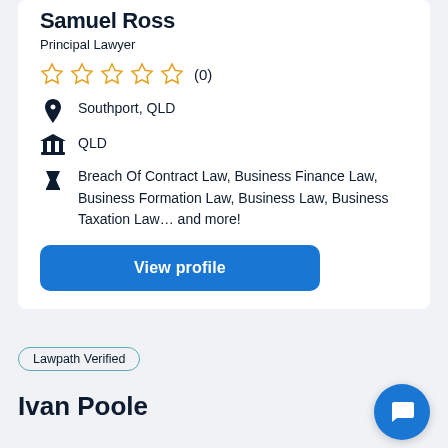Samuel Ross
Principal Lawyer
★★★★★ (0)
Southport, QLD
QLD
Breach Of Contract Law, Business Finance Law, Business Formation Law, Business Law, Business Taxation Law... and more!
View profile
Lawpath Verified
Ivan Poole